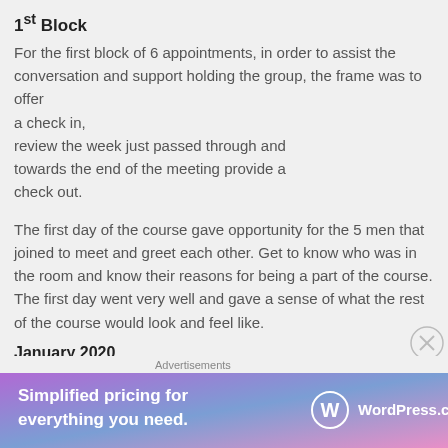1st Block
For the first block of 6 appointments, in order to assist the conversation and support holding the group, the frame was to offer
a check in,
review the week just passed through and towards the end of the meeting provide a check out.
The first day of the course gave opportunity for the 5 men that joined to meet and greet each other. Get to know who was in the room and know their reasons for being a part of the course. The first day went very well and gave a sense of what the rest of the course would look and feel like.
January 2020
The 2nd block of 6 appointments were looser in their
Advertisements
[Figure (infographic): WordPress.com advertisement banner with gradient purple/blue background, text 'Simplified pricing for everything you need.' and WordPress.com logo]